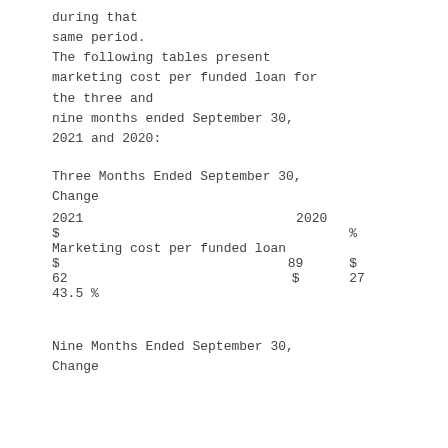during that same period. The following tables present marketing cost per funded loan for the three and nine months ended September 30, 2021 and 2020:
Three Months Ended September 30, Change
|  | 2021 | 2020 | $ | % |
| --- | --- | --- | --- | --- |
|  | $ | % |  |  |
| Marketing cost per funded loan |  |  |  |  |
|  | $ | 89 | $ |  |
| 62 | $ | 27 |  |  |
| 43.5  % |  |  |  |  |
Nine Months Ended September 30, Change